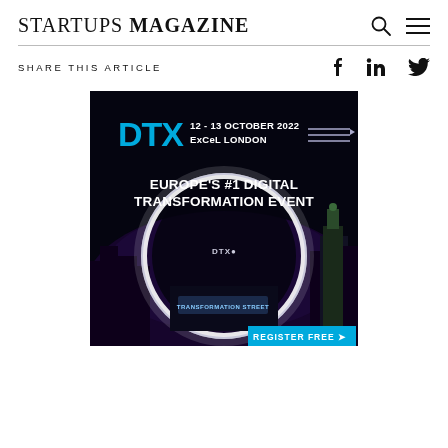STARTUPS MAGAZINE
SHARE THIS ARTICLE
[Figure (illustration): DTX 12-13 October 2022 ExCeL London. Europe's #1 Digital Transformation Event. Register Free. Dark background with glowing circular portal and city skyline.]